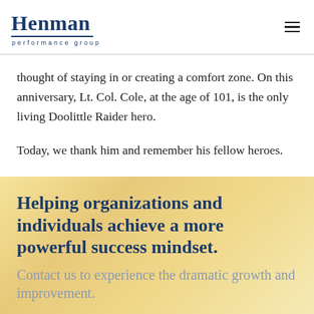Henman performance group
thought of staying in or creating a comfort zone. On this anniversary, Lt. Col. Cole, at the age of 101, is the only living Doolittle Raider hero.
Today, we thank him and remember his fellow heroes.
Helping organizations and individuals achieve a more powerful success mindset. Contact us to experience the dramatic growth and improvement.